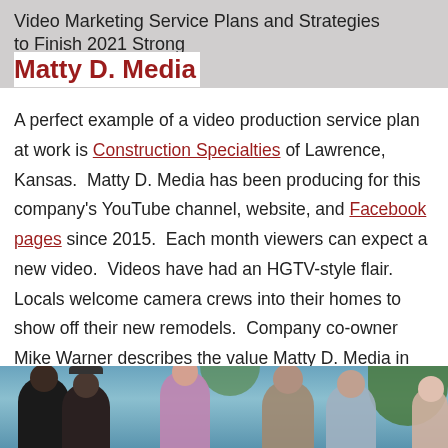Video Marketing Service Plans and Strategies to Finish 2021 Strong
Matty D. Media
A perfect example of a video production service plan at work is Construction Specialties of Lawrence, Kansas.  Matty D. Media has been producing for this company's YouTube channel, website, and Facebook pages since 2015.  Each month viewers can expect a new video.  Videos have had an HGTV-style flair.  Locals welcome camera crews into their homes to show off their new remodels.  Company co-owner Mike Warner describes the value Matty D. Media in the video below.
[Figure (photo): Group of people outdoors with trees in background, showing a camera crew or team photo]